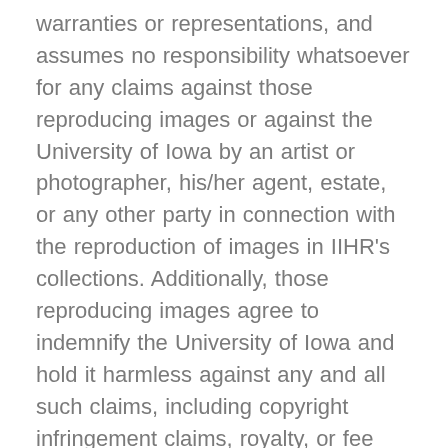warranties or representations, and assumes no responsibility whatsoever for any claims against those reproducing images or against the University of Iowa by an artist or photographer, his/her agent, estate, or any other party in connection with the reproduction of images in IIHR's collections. Additionally, those reproducing images agree to indemnify the University of Iowa and hold it harmless against any and all such claims, including copyright infringement claims, royalty, or fee demands and/or actions, including attorney fees and all other costs thereof, arising as a result of their